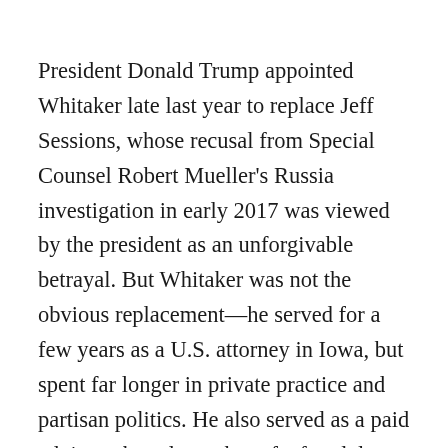President Donald Trump appointed Whitaker late last year to replace Jeff Sessions, whose recusal from Special Counsel Robert Mueller's Russia investigation in early 2017 was viewed by the president as an unforgivable betrayal. But Whitaker was not the obvious replacement—he served for a few years as a U.S. attorney in Iowa, but spent far longer in private practice and partisan politics. He also served as a paid advisory-board member of a fraudulent invention-promotion firm. Later, he was the executive director of a conservative nonprofit funded by dark money. And then came his stint as